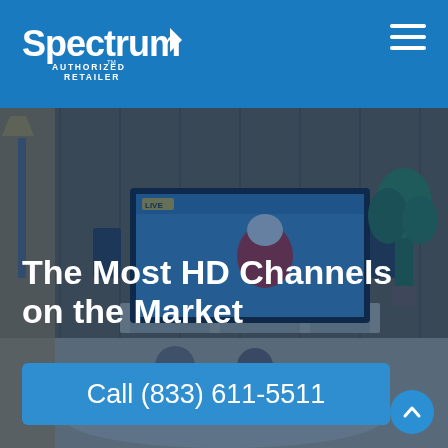Spectrum Authorized Retailer
[Figure (screenshot): Hero image of two children sitting on a floor watching a large TV in a living room with wood paneling, a plant, and warm lighting, overlaid with a blue tint]
The Most HD Channels on the Market
Call (833) 611-5511